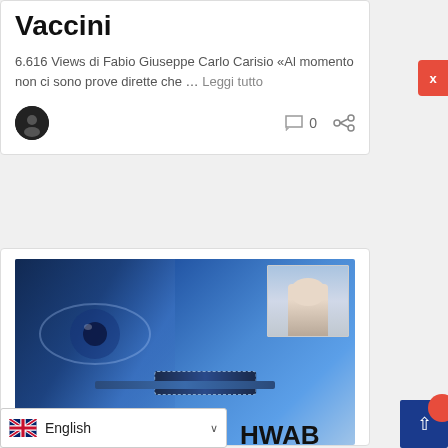Vaccini
6.616 Views di Fabio Giuseppe Carlo Carisio «Al momento non ci sono prove dirette che … Leggi tutto
[Figure (photo): Composite image showing a close-up of a human eye on the left (blue-toned), a microchip on a flat surface in the center, and an inset photo of a man at a World Economic Forum (WEF) podium on the right.]
HWAB